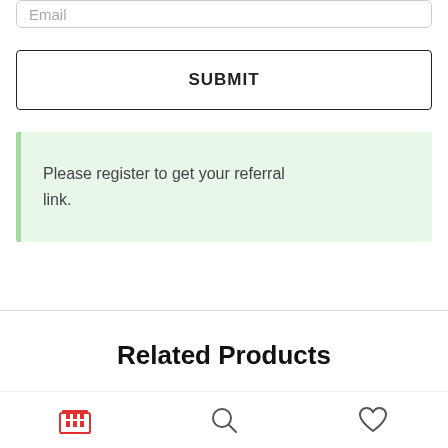[Figure (screenshot): Email input field with placeholder text 'Email']
SUBMIT
Please register to get your referral link.
Related Products
[Figure (screenshot): Bottom navigation bar with store icon (red), search icon, and heart/wishlist icon]